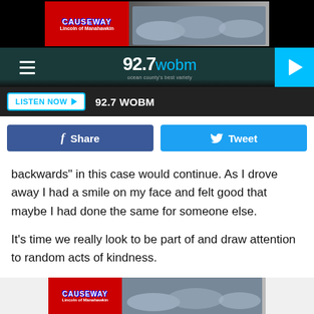[Figure (photo): Causeway Lincoln of Manahawkin advertisement banner with logo and cars]
92.7 WOBM
[Figure (other): LISTEN NOW button with 92.7 WOBM station label]
[Figure (other): Facebook Share and Twitter Tweet social media buttons]
backwards” in this case would continue. As I drove away I had a smile on my face and felt good that maybe I had done the same for someone else.
It’s time we really look to be part of and draw attention to random acts of kindness.
Count me in.
[Figure (photo): Causeway Lincoln of Manahawkin advertisement banner at bottom]